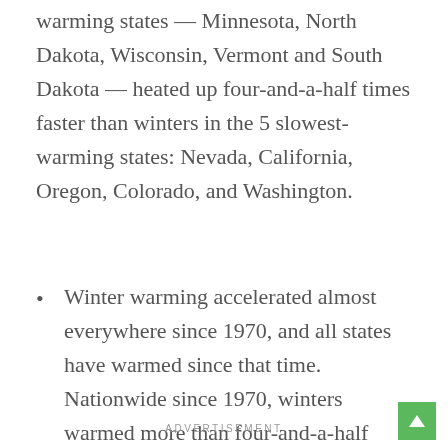warming states — Minnesota, North Dakota, Wisconsin, Vermont and South Dakota — heated up four-and-a-half times faster than winters in the 5 slowest-warming states: Nevada, California, Oregon, Colorado, and Washington.
Winter warming accelerated almost everywhere since 1970, and all states have warmed since that time. Nationwide since 1970, winters warmed more than four-and-a-half times faster per decade than over the past 100 years.
ADVERTISEMENT